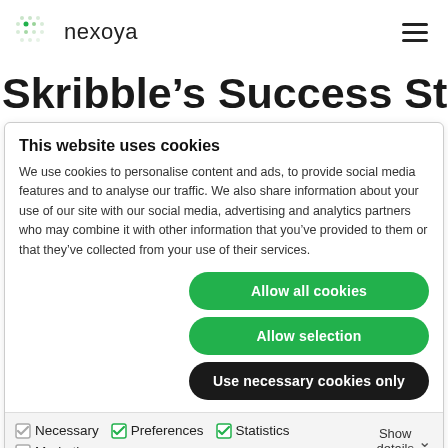nexoya
Skribble's Success Story: How
This website uses cookies
We use cookies to personalise content and ads, to provide social media features and to analyse our traffic. We also share information about your use of our site with our social media, advertising and analytics partners who may combine it with other information that you've provided to them or that they've collected from your use of their services.
Allow all cookies
Allow selection
Use necessary cookies only
Necessary  Preferences  Statistics  Marketing  Show details